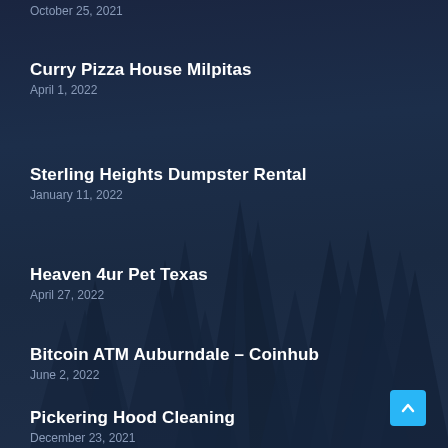October 25, 2021
Curry Pizza House Milpitas
April 1, 2022
Sterling Heights Dumpster Rental
January 11, 2022
Heaven 4ur Pet Texas
April 27, 2022
Bitcoin ATM Auburndale – Coinhub
June 2, 2022
Pickering Hood Cleaning
December 23, 2021